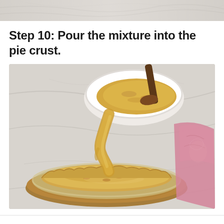[Figure (photo): Top portion of a previous step photo showing marble surface background]
Step 10: Pour the mixture into the pie crust.
[Figure (photo): Photo of a creamy yellow pie mixture being poured from a white bowl (with a wooden spoon) into a glass pie dish sitting on a wooden board on a marble surface. A pink cloth napkin is visible on the right side.]
Step 11: Serve and enjoy!